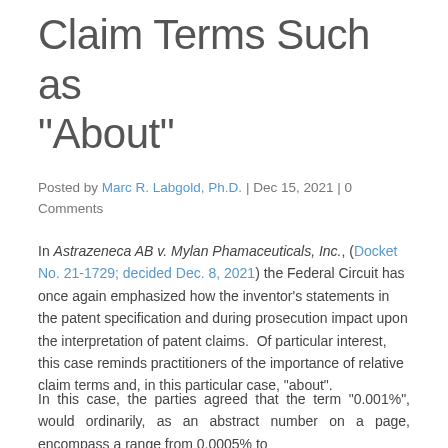Claim Terms Such as “About”
Posted by Marc R. Labgold, Ph.D. | Dec 15, 2021 | 0 Comments
In Astrazeneca AB v. Mylan Phamaceuticals, Inc., (Docket No. 21-1729; decided Dec. 8, 2021) the Federal Circuit has once again emphasized how the inventor's statements in the patent specification and during prosecution impact upon the interpretation of patent claims.  Of particular interest, this case reminds practitioners of the importance of relative claim terms and, in this particular case, “about”.
In this case, the parties agreed that the term “0.001%”, would ordinarily, as an abstract number on a page, encompass a range from 0.0005% to